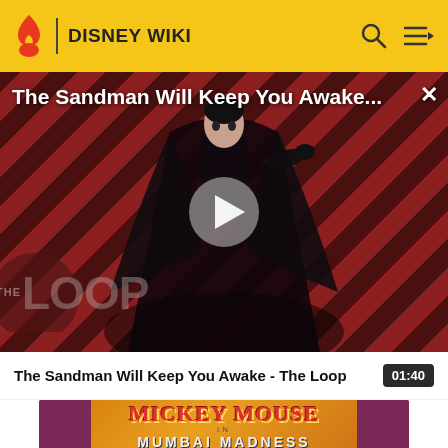DISNEY WIKI
[Figure (screenshot): Video thumbnail for 'The Sandman Will Keep You Awake - The Loop' showing a dark figure holding a raven against a red diagonal striped background with THE LOOP watermark and a play button]
The Sandman Will Keep You Awake - The Loop   01:40
[Figure (screenshot): Thumbnail of Mickey Mouse in Mumbai Madness title card with orange background and red stylized text]